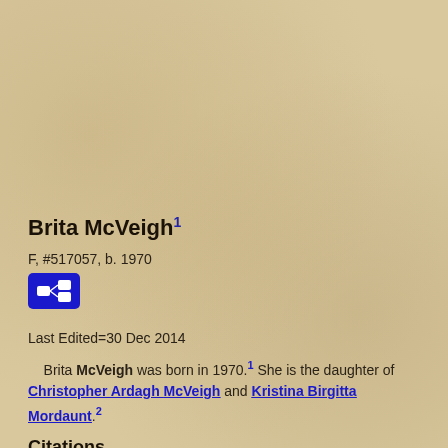Brita McVeigh1
F, #517057, b. 1970
Last Edited=30 Dec 2014
Brita McVeigh was born in 1970.1 She is the daughter of Christopher Ardagh McVeigh and Kristina Birgitta Mordaunt.2
Citations